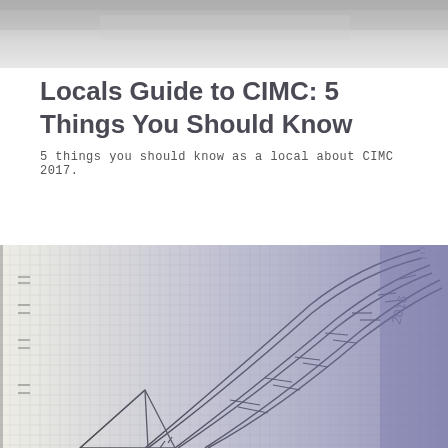[Figure (photo): Blurred architectural or structural photo in grayscale at top of page]
Locals Guide to CIMC: 5 Things You Should Know
5 things you should know as a local about CIMC 2017.
[Figure (photo): Hand-drawn architectural/structural sketch on grid paper showing a curved segmented truss or arch structure, partially overlaid with a purple-blue tinted photographic image]